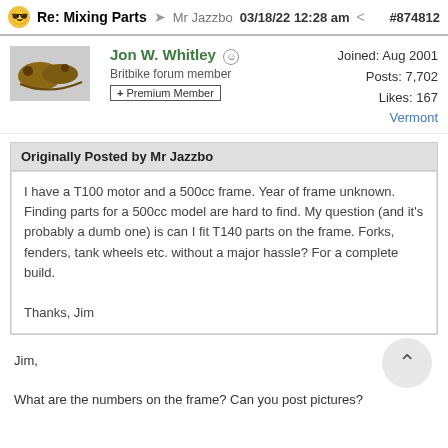Re: Mixing Parts  Mr Jazzbo  03/18/22 12:28 am  #874812
Jon W. Whitley
Britbike forum member
+ Premium Member
Joined: Aug 2001
Posts: 7,702
Likes: 167
Vermont
Originally Posted by Mr Jazzbo
I have a T100 motor and a 500cc frame. Year of frame unknown. Finding parts for a 500cc model are hard to find. My question (and it's probably a dumb one) is can I fit T140 parts on the frame. Forks, fenders, tank wheels etc. without a major hassle? For a complete build.

Thanks, Jim
Jim,

What are the numbers on the frame? Can you post pictures?